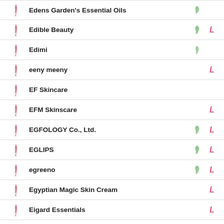Edens Garden's Essential Oils
Edible Beauty
Edimi
eeny meeny
EF Skincare
EFM Skinscare
EGFOLOGY Co., Ltd.
EGLIPS
egreeno
Egyptian Magic Skin Cream
Eigard Essentials
Elidr Elili Elilel